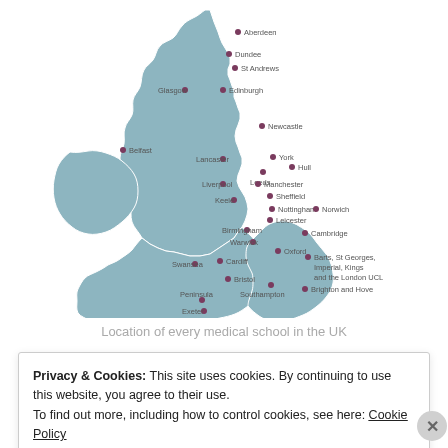[Figure (map): Map of the United Kingdom and Ireland showing the location of every medical school, with labeled dots for cities including Aberdeen, Dundee, St Andrews, Glasgow, Edinburgh, Newcastle, Belfast, Lancaster, York, Leeds, Hull, Liverpool, Manchester, Sheffield, Keele, Nottingham, Leicester, Norwich, Birmingham, Warwick, Cambridge, Oxford, Cardiff, Swansea, Bristol, Barts/St Georges/Imperial/Kings/London UCL, Southampton, Brighton and Hove, Peninsula, Exeter]
Location of every medical school in the UK
Privacy & Cookies: This site uses cookies. By continuing to use this website, you agree to their use.
To find out more, including how to control cookies, see here: Cookie Policy
Close and accept